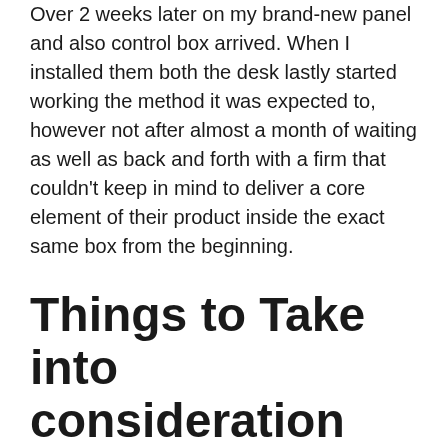Over 2 weeks later on my brand-new panel and also control box arrived. When I installed them both the desk lastly started working the method it was expected to, however not after almost a month of waiting as well as back and forth with a firm that couldn't keep in mind to deliver a core element of their product inside the exact same box from the beginning.
Things to Take into consideration
Despite its bankable functions, this stand up workdesk also has its very own drawbacks. Given that no singular stand desk might record all of the attributes that you may